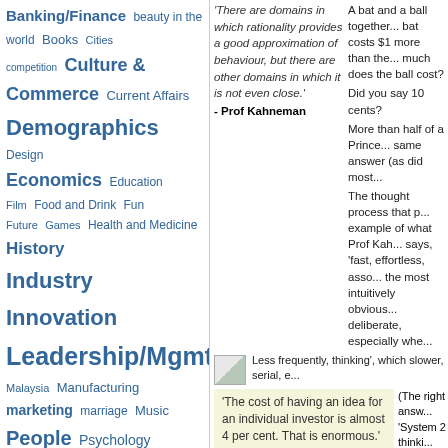Banking/Finance
beauty in the world
Books
Cities
competition
Culture & Commerce
Current Affairs
Demographics
Design
Economics
Education
Film
Food and Drink
Fun
Future
Games
Health and Medicine
History
Industry
Innovation
Leadership/Mgmt
Malaysia
Manufacturing
marketing
marriage
Music
People
Psychology
Public Policy
Religion
Science
Search
Singapore
Sports
Stats & Math
Strategy
Television
Travel
U - Academic
U - Endowment
U - House
U - IP
U - Strategy
U - Tech
Web/Tech
Weblogs
Recent Posts
Stan Lai - The Village
'There are domains in which rationality provides a good approximation of behaviour, but there are other domains in which it is not even close.'
- Prof Kahneman
A bat and a ball together... bat costs $1 more than the... much does the ball cost?
Did you say 10 cents?
More than half of a Prince... same answer (as did most...
The thought process that p... example of what Prof Kah... says, 'fast, effortless, asso... the most intuitively obvious... deliberate, especially whe...
Less frequently, thinking', which slower, serial, e...
'The cost of having an idea for an individual investor is almost 4 per cent. That is enormous.'
- Prof Kahneman
(The right answ... 'System 2 thinki...
'System 1 works... problem is wher... know when you... situations where... your intuition.'
Mr Kahneman, w... in 2002 and tea... credited - together with his collaborator for so... Stanford - as being the founder of behavioura...
One of the insights of this relatively new disc... decisions, people are often not the selfish, ra...